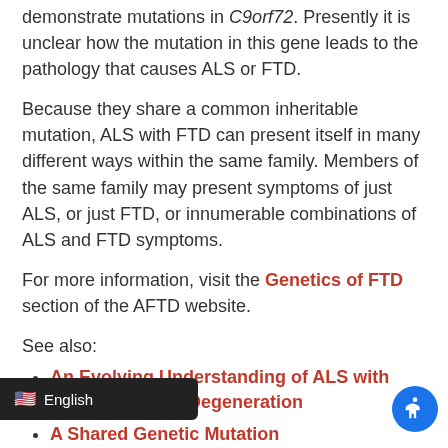demonstrate mutations in C9orf72. Presently it is unclear how the mutation in this gene leads to the pathology that causes ALS or FTD.
Because they share a common inheritable mutation, ALS with FTD can present itself in many different ways within the same family. Members of the same family may present symptoms of just ALS, or just FTD, or innumerable combinations of ALS and FTD symptoms.
For more information, visit the Genetics of FTD section of the AFTD website.
See also:
An Evolving Understanding of ALS with Frontotemporal Degeneration
A Shared Genetic Mutation
Common Presentations of ALS with FTD
A Caregiver’s Perspective…on Slow-Developing AL
AFTD es to ensure that website visitors have th ce. We value your privacy.